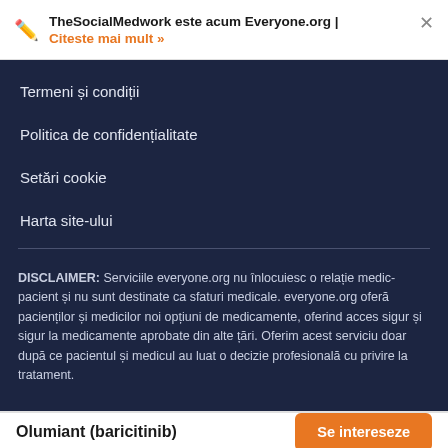TheSocialMedwork este acum Everyone.org | Citeste mai mult »
Termeni și condiții
Politica de confidențialitate
Setări cookie
Harta site-ului
DISCLAIMER: Serviciile everyone.org nu înlocuiesc o relație medic-pacient și nu sunt destinate ca sfaturi medicale. everyone.org oferă pacienților și medicilor noi opțiuni de medicamente, oferind acces sigur și sigur la medicamente aprobate din alte țări. Oferim acest serviciu doar după ce pacientul și medicul au luat o decizie profesională cu privire la tratament.
Olumiant (baricitinib)  Se intereseze